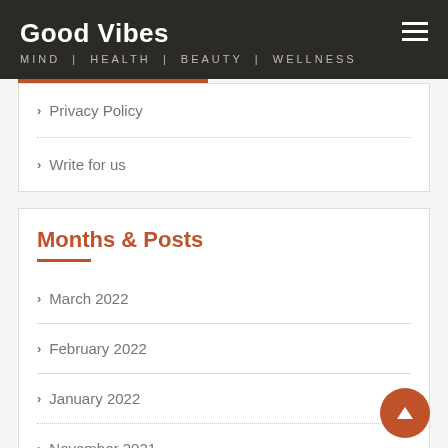Good Vibes — MIND | HEALTH | BEAUTY | WELLNESS
Privacy Policy
Write for us
Months & Posts
March 2022
February 2022
January 2022
November 2021